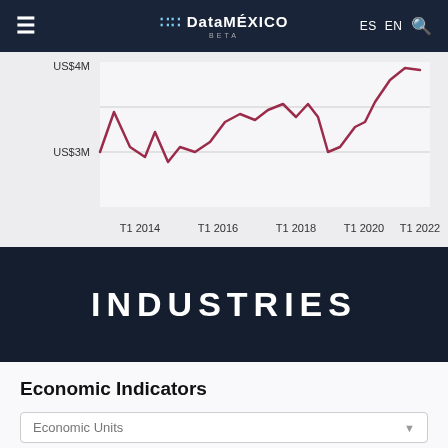DataMÉXICO BETA — ES EN
[Figure (line-chart): Line chart showing upward trend from approximately US$3M in T1 2014 to over US$4M in T1 2022, with fluctuations. X-axis labels: T1 2014, T1 2016, T1 2018, T1 2020, T1 2022. Y-axis labels: US$3M, US$4M.]
INDUSTRIES
Economic Indicators
Economic Units